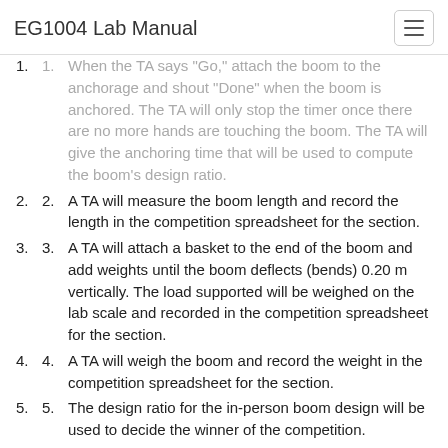EG1004 Lab Manual
When the TA says "Go," attach the boom to the anchorage and shout "Done" when the boom is anchored. The TA will only stop the timer once there are no more hands are touching the boom. The TA will give the anchoring time that will be used to compute the boom's design ratio.
A TA will measure the boom length and record the length in the competition spreadsheet for the section.
A TA will attach a basket to the end of the boom and add weights until the boom deflects (bends) 0.20 m vertically. The load supported will be weighed on the lab scale and recorded in the competition spreadsheet for the section.
A TA will weigh the boom and record the weight in the competition spreadsheet for the section.
The design ratio for the in-person boom design will be used to decide the winner of the competition.
A TA will prepare an Excel file with the section's results. It can be accessed in the Lab Documents section of the EG1003 website. This chart must be included in the PowerPoint presentation and in the Data/Observations section of the lab report. The lab work is now complete. Please clean up the workstation. Return all unused